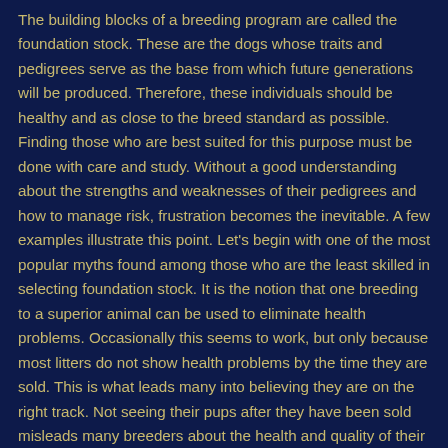The building blocks of a breeding program are called the foundation stock. These are the dogs whose traits and pedigrees serve as the base from which future generations will be produced. Therefore, these individuals should be healthy and as close to the breed standard as possible. Finding those who are best suited for this purpose must be done with care and study. Without a good understanding about the strengths and weaknesses of their pedigrees and how to manage risk, frustration becomes the inevitable. A few examples illustrate this point. Let's begin with one of the most popular myths found among those who are the least skilled in selecting foundation stock. It is the notion that one breeding to a superior animal can be used to eliminate health problems. Occasionally this seems to work, but only because most litters do not show health problems by the time they are sold. This is what leads many into believing they are on the right track. Not seeing their pups after they have been sold misleads many breeders about the health and quality of their litters. Too often breeders rely on buyer feedback as the primary means by which they determine if they are making progress. If all of the pups from each litter were evaluated at maturity a different story might be told. In a mobile society that relocates with